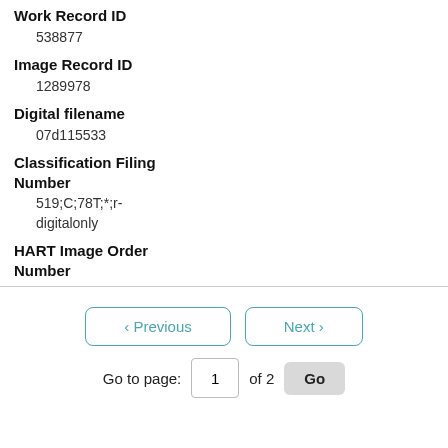Work Record ID
538877
Image Record ID
1289978
Digital filename
07d115533
Classification Filing Number
519;C;78T;*;r-digitalonly
HART Image Order Number
Previous  Next
Go to page: 1 of 2 Go